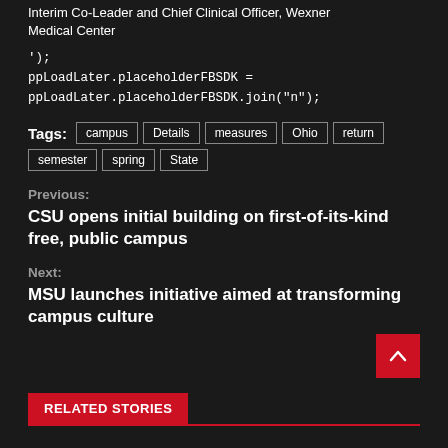Interim Co-Leader and Chief Clinical Officer, Wexner Medical Center
');
ppLoadLater.placeholderFBSDK = ppLoadLater.placeholderFBSDK.join("n");
Tags: campus  Details  measures  Ohio  return  semester  spring  State
Previous:
CSU opens initial building on first-of-its-kind free, public campus
Next:
MSU launches initiative aimed at transforming campus culture
RELATED STORIES